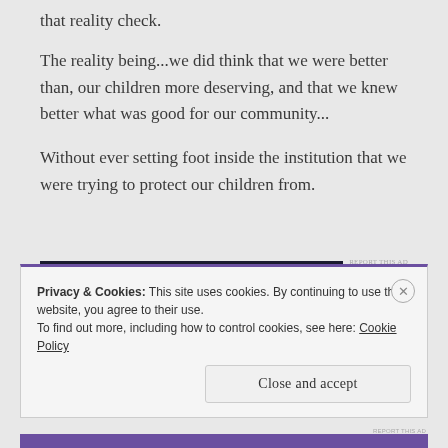that reality check.
The reality being...we did think that we were better than, our children more deserving, and that we knew better what was good for our community...
Without ever setting foot inside the institution that we were trying to protect our children from.
Privacy & Cookies: This site uses cookies. By continuing to use this website, you agree to their use.
To find out more, including how to control cookies, see here: Cookie Policy
Close and accept